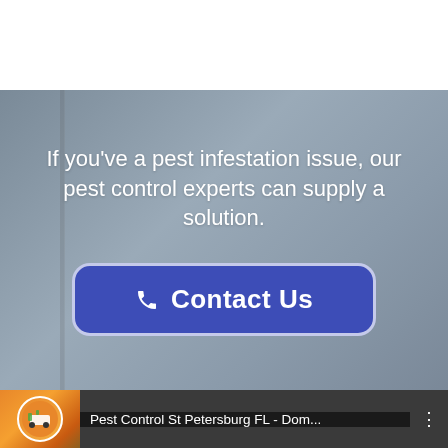If you've a pest infestation issue, our pest control experts can supply a solution.
[Figure (other): A blue rounded button with phone icon labeled 'Contact Us' on a grey background with hero text above.]
[Figure (screenshot): Video thumbnail bar showing 'Pest Control St Petersburg FL - Dom...' with a logo circle and three-dot menu icon.]